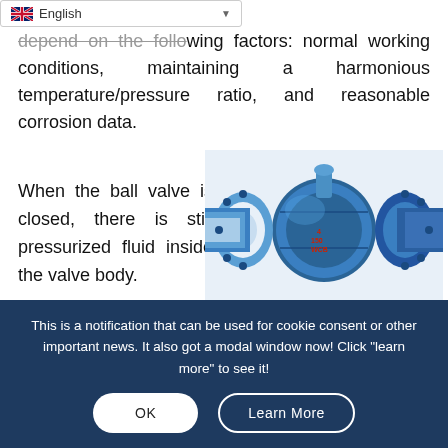depend on the following factors: normal working conditions, maintaining a harmonious temperature/pressure ratio, and reasonable corrosion data.
When the ball valve is closed, there is still pressurized fluid inside the valve body.
[Figure (photo): Industrial ball valve with blue body, flanged ends, and white seat liner visible on the left side. Red markings on the body show size and material designation (4 150 WCB).]
This is a notification that can be used for cookie consent or other important news. It also got a modal window now! Click "learn more" to see it!